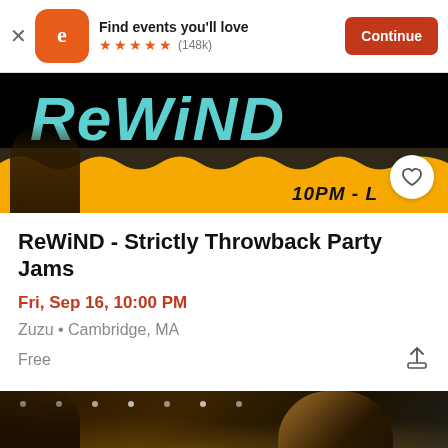Find events you'll love ★★★★★ (148k) Continue
[Figure (screenshot): ReWiND event promotional banner showing 'REWIND' text in teal on black background with orange/yellow wave pattern and '10PM - L' partial text]
ReWiND - Strictly Throwback Party Jams
Fri, Sep 16, 10:00 PM
Zuzu • Cambridge, MA
Free
[Figure (photo): Photo of people at a bar/event venue, dark atmosphere with warm lighting, woman visible on the right side]